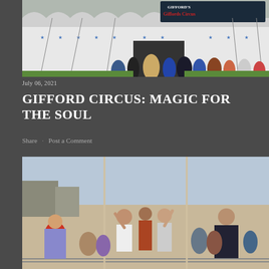[Figure (photo): Exterior of a large white circus tent with blue star decorations and 'Gifford's Circus' signage. A crowd of people stands at the entrance on a green field.]
July 06, 2021
GIFFORD CIRCUS: MAGIC FOR THE SOUL
Share   Post a Comment
[Figure (photo): A vintage-style photograph showing a group of children and adults waving at the camera, standing outdoors near railway tracks and buildings.]